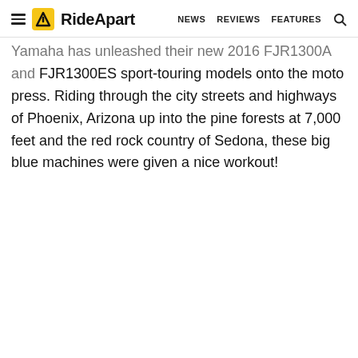RideApart — NEWS | REVIEWS | FEATURES
Yamaha has unleashed their new 2016 FJR1300A and FJR1300ES sport-touring models onto the moto press. Riding through the city streets and highways of Phoenix, Arizona up into the pine forests at 7,000 feet and the red rock country of Sedona, these big blue machines were given a nice workout!